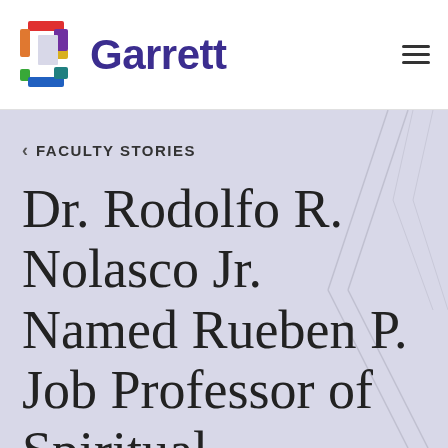[Figure (logo): Garrett Evangelical Theological Seminary logo with colorful G icon and purple Garrett wordmark]
FACULTY STORIES
Dr. Rodolfo R. Nolasco Jr. Named Rueben P. Job Professor of Spiritual Formation